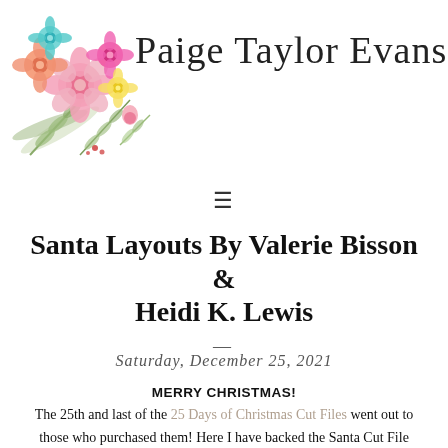[Figure (illustration): Watercolor floral bouquet with pink, coral, teal, and yellow flowers with green leaves and ferns, positioned at top-left of the header]
Paige Taylor Evans
☰ (hamburger menu icon)
Santa Layouts By Valerie Bisson & Heidi K. Lewis
Saturday, December 25, 2021
MERRY CHRISTMAS!
The 25th and last of the 25 Days of Christmas Cut Files went out to those who purchased them! Here I have backed the Santa Cut File with papers from a variety of new DCWV Paper Pads to go into my